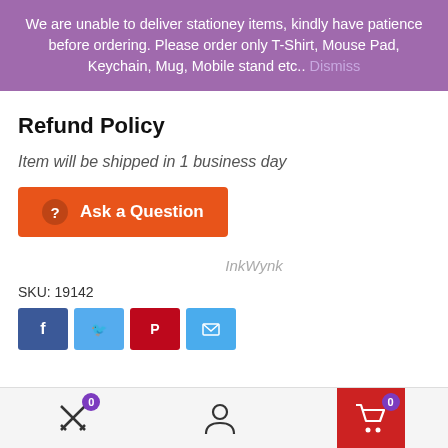We are unable to deliver stationey items, kindly have patience before ordering. Please order only T-Shirt, Mouse Pad, Keychain, Mug, Mobile stand etc.. Dismiss
Refund Policy
Item will be shipped in 1 business day
[Figure (other): Orange button labeled 'Ask a Question' with a question mark icon]
InkWynk
SKU: 19142
[Figure (other): Social share buttons: Facebook (blue), Twitter (light blue), Pinterest (red), Email (teal)]
Bottom navigation bar with compare/wishlist icon (badge: 0), user icon, and cart icon (badge: 0)